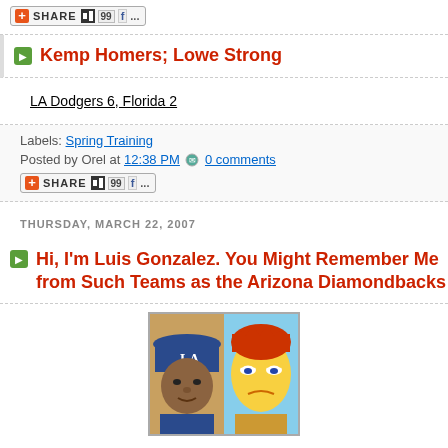[Figure (other): Share button with plus icon and social media icons (digg, facebook, etc.)]
Kemp Homers; Lowe Strong
LA Dodgers 6, Florida 2
Labels: Spring Training
Posted by Orel at 12:38 PM  0 comments
[Figure (other): Share button with plus icon and social media icons]
THURSDAY, MARCH 22, 2007
Hi, I'm Luis Gonzalez. You Might Remember Me from Such Teams as the Arizona Diamondbacks
[Figure (photo): Side-by-side comparison photo of Luis Gonzalez in LA Dodgers cap and a Simpsons cartoon character with red hair]